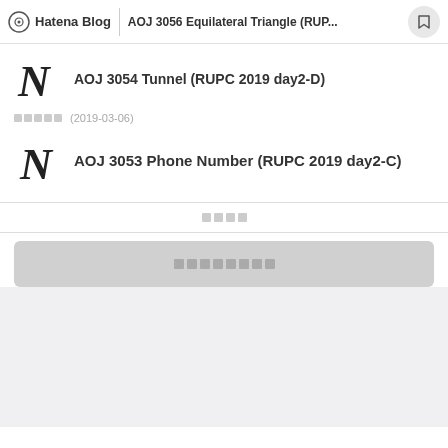Hatena Blog | AOJ 3056 Equilateral Triangle (RUP...
AOJ 3054 Tunnel (RUPC 2019 day2-D)
▪▪▪▪▪ (2019-03-06)
AOJ 3053 Phone Number (RUPC 2019 day2-C)
前の記事
▪▪▪▪▪▪▪▪